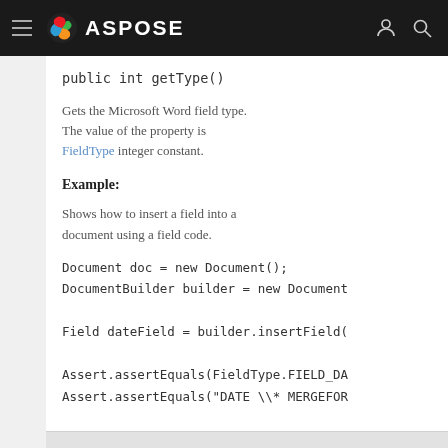ASPOSE
public int getType()
Gets the Microsoft Word field type. The value of the property is FieldType integer constant.
Example:
Shows how to insert a field into a document using a field code.
Document doc = new Document();
DocumentBuilder builder = new Document

Field dateField = builder.insertField(

Assert.assertEquals(FieldType.FIELD_DA
Assert.assertEquals("DATE \\* MERGEFOR